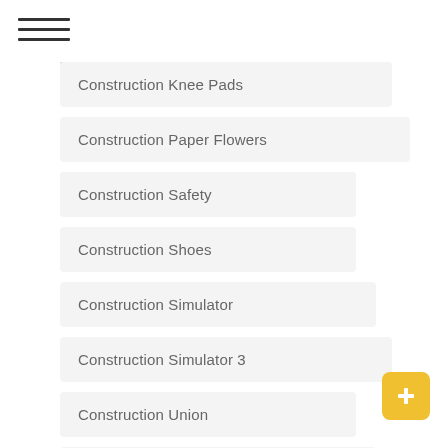Construction Knee Pads
Construction Paper Flowers
Construction Safety
Construction Shoes
Construction Simulator
Construction Simulator 3
Construction Union
Constructive Criticism